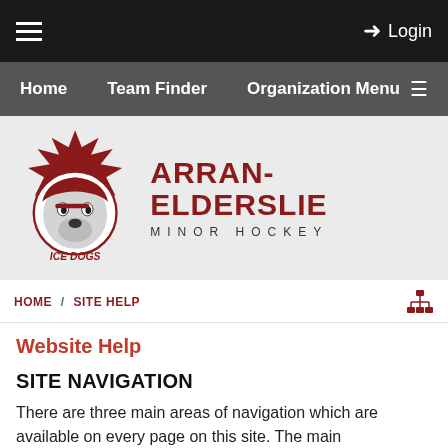≡  Login
Home   Team Finder   Organization Menu ≡
[Figure (logo): Arran-Elderslie Ice Dogs minor hockey logo with wolf wearing hockey helmet and maple leaf, beside text ARRAN-ELDERSLIE MINOR HOCKEY]
HOME / SITE HELP
Website Help
SITE NAVIGATION
There are three main areas of navigation which are available on every page on this site. The main organization menu will always be shown horizontally across the page and will contain links to pages with